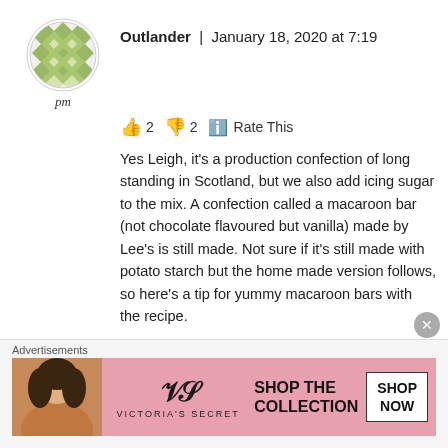[Figure (logo): Circular decorative avatar logo with green/olive diamond lattice pattern on white background]
pm
Outlander | January 18, 2020 at 7:19
👍 2 👎 2 ℹ Rate This
Yes Leigh, it's a production confection of long standing in Scotland, but we also add icing sugar to the mix. A confection called a macaroon bar (not chocolate flavoured but vanilla) made by Lee's is still made. Not sure if it's still made with potato starch but the home made version follows, so here's a tip for yummy macaroon bars with the recipe.
Do not boil the potatoes (tto wet as they absorb some of the cooking water) microwave them in their jackets till tender, then, when cool enough to handle peel the
Advertisements
[Figure (photo): Victoria's Secret advertisement banner with a woman's photo on the left, VS logo in center, 'SHOP THE COLLECTION' text, and 'SHOP NOW' button on pink background]